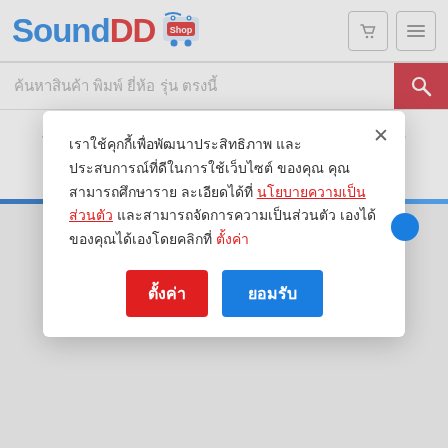[Figure (logo): SoundDD.Shop logo with blue 'Sound', red 'DD', and a shop cart icon labeled 'Shop']
ค้นหาสินค้า พิมพ์ ยี่ห้อ รุ่น ตรงนี้
technology of MAXHUB make your presentations become smarter.
เราใช้คุกกี้เพื่อพัฒนาประสิทธิภาพ และประสบการณ์ที่ดีในการใช้เว็บไซต์ ของคุณ คุณสามารถศึกษารายละเอียดได้ที่ นโยบายความเป็นส่วนตัว และสามารถจัดการความเป็นส่วนตัวเองได้ของคุณได้เองโดยคลิกที่ ตั้งค่า
ตั้งค่า
ยอมรับ